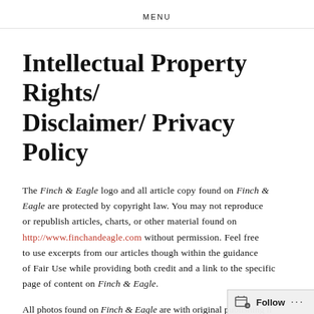MENU
Intellectual Property Rights/ Disclaimer/ Privacy Policy
The Finch & Eagle logo and all article copy found on Finch & Eagle are protected by copyright law. You may not reproduce or republish articles, charts, or other material found on http://www.finchandeagle.com without permission. Feel free to use excerpts from our articles though within the guidance of Fair Use while providing both credit and a link to the specific page of content on Finch & Eagle.
All photos found on Finch & Eagle are with original publishing...